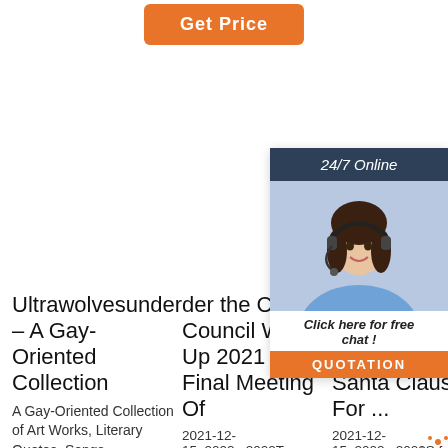[Figure (other): Orange 'Get Price' button at top center]
[Figure (other): 24/7 Online chat widget with photo of woman with headset, 'Click here for free chat!' text, and orange QUOTATION button]
Ultrawolvesunder – A Gay-Oriented Collection
A Gay-Oriented Collection of Art Works, Literary Quotes, Songs
der the Citymo Council Wraps Up 2021 With Final Meeting Of
2021-12-15u2002·u2002Treasurer
O W I Santa Claus For ...
2021-12-15u2002·u2002S from the